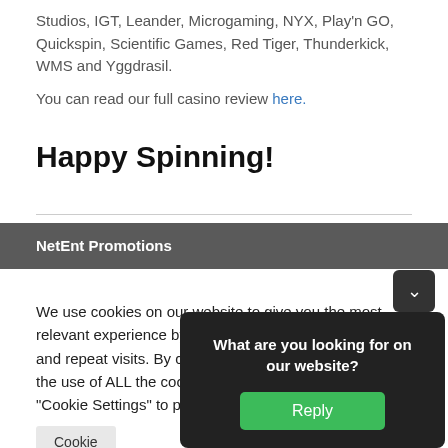Studios, IGT, Leander, Microgaming, NYX, Play'n GO, Quickspin, Scientific Games, Red Tiger, Thunderkick, WMS and Yggdrasil.
You can read our full casino review here.
Happy Spinning!
NetEnt Promotions
We use cookies on our website to give you the most relevant experience by remembering your preferences and repeat visits. By clicking "Accept All", you consent to the use of ALL the cookies. However, you may visit "Cookie Settings" to provide a controlled consent.
Cookie Settings
What are you looking for on our website?
Reply